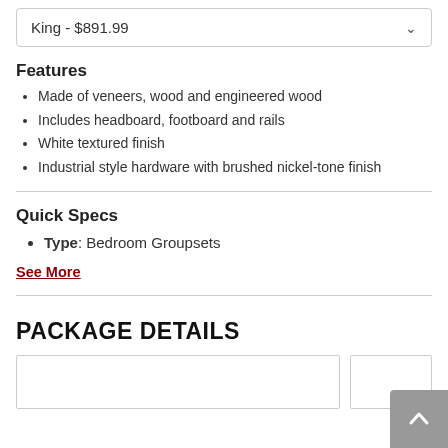King  -  $891.99
Features
Made of veneers, wood and engineered wood
Includes headboard, footboard and rails
White textured finish
Industrial style hardware with brushed nickel-tone finish
Quick Specs
Type: Bedroom Groupsets
See More
PACKAGE DETAILS
[Figure (other): Package detail product cards (partially visible)]